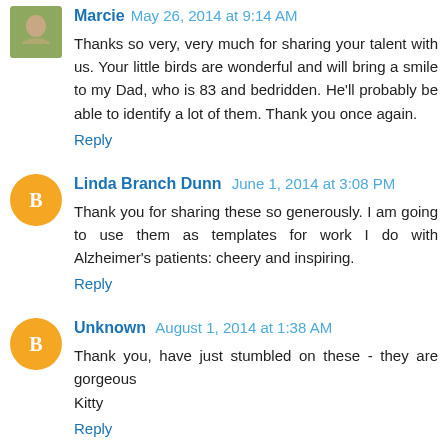Marcie May 26, 2014 at 9:14 AM
Thanks so very, very much for sharing your talent with us. Your little birds are wonderful and will bring a smile to my Dad, who is 83 and bedridden. He'll probably be able to identify a lot of them. Thank you once again.
Reply
Linda Branch Dunn June 1, 2014 at 3:08 PM
Thank you for sharing these so generously. I am going to use them as templates for work I do with Alzheimer's patients: cheery and inspiring.
Reply
Unknown August 1, 2014 at 1:38 AM
Thank you, have just stumbled on these - they are gorgeous
Kitty
Reply